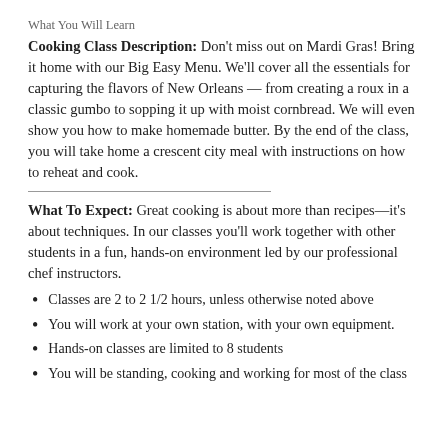What You Will Learn
Cooking Class Description: Don't miss out on Mardi Gras! Bring it home with our Big Easy Menu. We'll cover all the essentials for capturing the flavors of New Orleans — from creating a roux in a classic gumbo to sopping it up with moist cornbread. We will even show you how to make homemade butter. By the end of the class, you will take home a crescent city meal with instructions on how to reheat and cook.
What To Expect: Great cooking is about more than recipes—it's about techniques. In our classes you'll work together with other students in a fun, hands-on environment led by our professional chef instructors.
Classes are 2 to 2 1/2 hours, unless otherwise noted above
You will work at your own station, with your own equipment.
Hands-on classes are limited to 8 students
You will be standing, cooking and working for most of the class